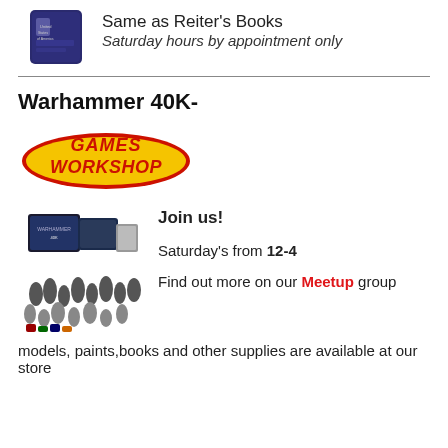[Figure (photo): Dark blue book/passport partially visible at top left]
Same as Reiter's Books
Saturday hours by appointment only
Warhammer 40K-
[Figure (logo): Games Workshop logo in red and yellow]
[Figure (photo): Warhammer 40K product set with miniatures, boxes and paints]
Join us!
Saturday's from 12-4
Find out more on our Meetup group
models, paints,books and other supplies are available at our store